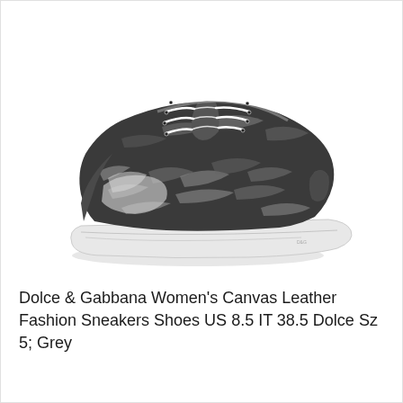[Figure (photo): A grey and white furry/canvas low-top sneaker (Dolce & Gabbana) with white laces and white rubber sole, photographed on a white background from a front-side angle.]
Dolce & Gabbana Women's Canvas Leather Fashion Sneakers Shoes US 8.5 IT 38.5 Dolce Sz 5; Grey